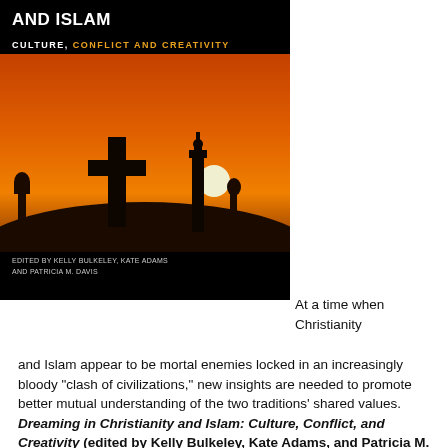[Figure (photo): Book cover of 'Dreaming in Christianity and Islam: Culture, Conflict and Creativity' showing silhouettes of a cross and minaret against an orange sunset sky. Edited by Kelly Bulkeley, Kate Adams and Patricia M. Davis. Black background with orange sunset image.]
At a time when Christianity and Islam appear to be mortal enemies locked in an increasingly bloody “clash of civilizations,” new insights are needed to promote better mutual understanding of the two traditions’ shared values. Dreaming in Christianity and Islam: Culture, Conflict, and Creativity (edited by Kelly Bulkeley, Kate Adams, and Patricia M. Davis (Rutgers University Press, 2009) provides exactly that. This new book is a